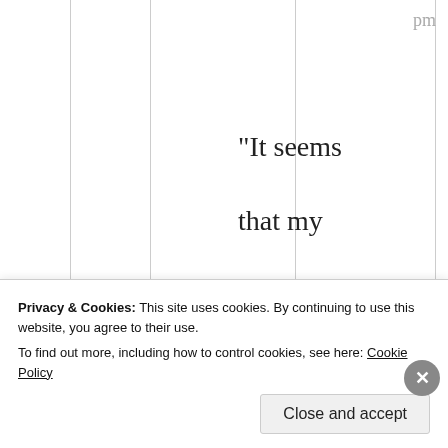pm
“It seems that my attempt to obey your command compares to posting the https of some related
Privacy & Cookies: This site uses cookies. By continuing to use this website, you agree to their use.
To find out more, including how to control cookies, see here: Cookie Policy
Close and accept